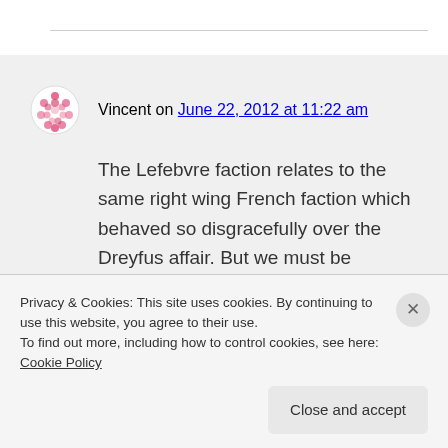Vincent on June 22, 2012 at 11:22 am
The Lefebvre faction relates to the same right wing French faction which behaved so disgracefully over the Dreyfus affair. But we must be realistic: were the Vatican to start rolling back aspects of Vatican II, they would certainly claim that it
Privacy & Cookies: This site uses cookies. By continuing to use this website, you agree to their use.
To find out more, including how to control cookies, see here: Cookie Policy
Close and accept